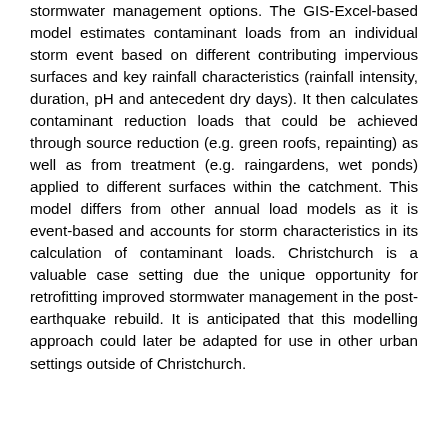stormwater management options. The GIS-Excel-based model estimates contaminant loads from an individual storm event based on different contributing impervious surfaces and key rainfall characteristics (rainfall intensity, duration, pH and antecedent dry days). It then calculates contaminant reduction loads that could be achieved through source reduction (e.g. green roofs, repainting) as well as from treatment (e.g. raingardens, wet ponds) applied to different surfaces within the catchment. This model differs from other annual load models as it is event-based and accounts for storm characteristics in its calculation of contaminant loads. Christchurch is a valuable case setting due the unique opportunity for retrofitting improved stormwater management in the post-earthquake rebuild. It is anticipated that this modelling approach could later be adapted for use in other urban settings outside of Christchurch.